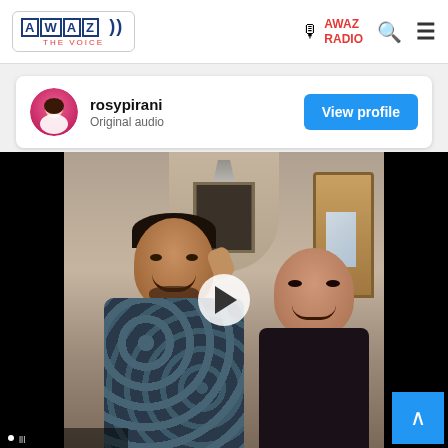AWAZ THE VOICE | AWAZ RADIO
rosypirani
Original audio
View profile
[Figure (photo): Video thumbnail showing a man in a floral shirt holding a phone to his ear and smiling, next to a woman with dark hair wearing a dark top, standing in an indoor hallway with an arch and chandelier in the background. A play button is overlaid at the center.]